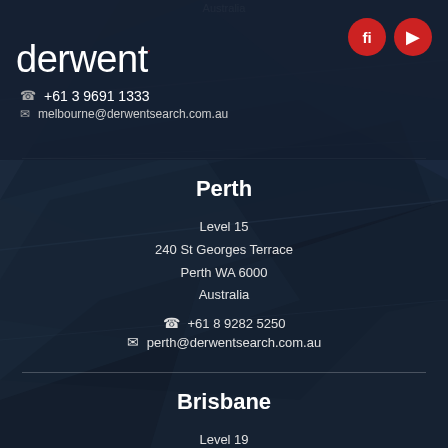[Figure (logo): Derwent company logo in white with red accent]
+61 3 9691 1333
melbourne@derwentsearch.com.au
Perth
Level 15
240 St Georges Terrace
Perth WA 6000
Australia
+61 8 9282 5250
perth@derwentsearch.com.au
Brisbane
Level 19
10 Eagle Street Brisbane
Brisbane QLD 4000
Australia